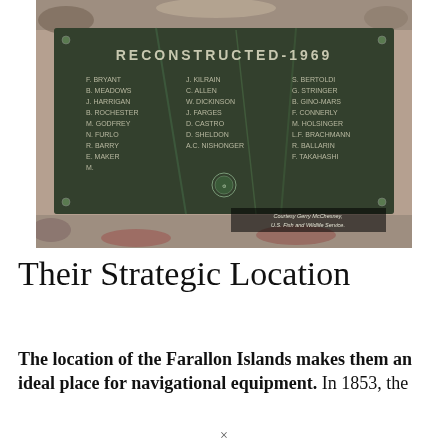[Figure (photo): A bronze or metal commemorative plaque reading 'RECONSTRUCTED 1969' with multiple names listed in columns below. Names include F. BRYANT, B. MEADOWS, J. HARRIGAN, B. ROCHESTER, M. GODFREY, N. FURLO, R. BARRY, E. MAKER, M. and others in the left column; J. KILRAIN, C. ALLEN, W. DICKINSON, J. FARGES, D. CASTRO, D. SHELDON, A.C. NISHONGER in the middle column; S. BERTOLDI, G. STRINGER, B. GINO-MARS, F. CONNERLY, M. HOLSINGER, L.F. BRACHMANN, R. BALLARIN, F. TAKAHASHI in the right column. Photo credit reads 'Courtesy Gerry McChesney, U.S. Fish and Wildlife Service'. The plaque is set in rocky granite.]
Their Strategic Location
The location of the Farallon Islands makes them an ideal place for navigational equipment. In 1853, the